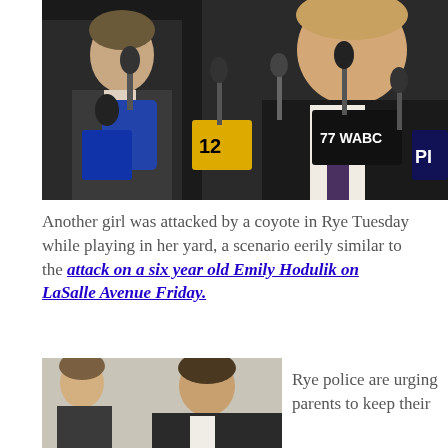[Figure (photo): Press conference scene with two men in suits behind a cluster of TV news microphones including channels 12 and 77 WABC]
Another girl was attacked by a coyote in Rye Tuesday while playing in her yard, a scenario eerily similar to the attack on a six year old Emily Hodulik on LaSalle Avenue Friday.
[Figure (photo): Man in suit speaking at press conference, side profile view]
Rye police are urging parents to keep their